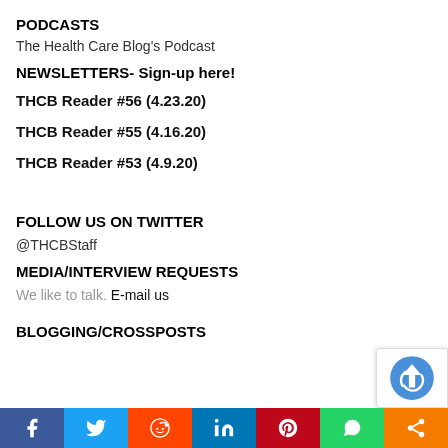PODCASTS
The Health Care Blog's Podcast
NEWSLETTERS- Sign-up here!
THCB Reader #56 (4.23.20)
THCB Reader #55 (4.16.20)
THCB Reader #53 (4.9.20)
FOLLOW US ON TWITTER
@THCBStaff
MEDIA/INTERVIEW REQUESTS
We like to talk. E-mail us
BLOGGING/CROSSPOSTS
[Figure (infographic): Social share bar with Facebook, Twitter, Reddit, LinkedIn, Pinterest, WhatsApp, and More buttons]